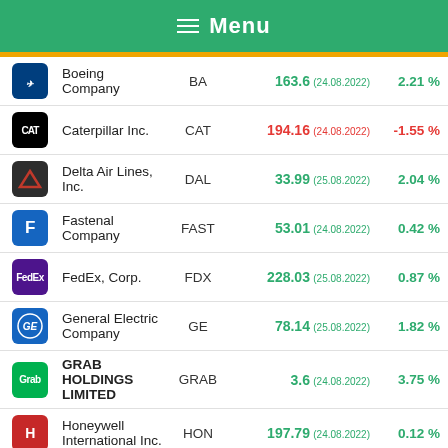Menu
| Logo | Company | Ticker | Price (Date) | Change % |
| --- | --- | --- | --- | --- |
| BA logo | Boeing Company | BA | 163.6 (24.08.2022) | 2.21 % |
| CAT logo | Caterpillar Inc. | CAT | 194.16 (24.08.2022) | -1.55 % |
| DAL logo | Delta Air Lines, Inc. | DAL | 33.99 (25.08.2022) | 2.04 % |
| F logo | Fastenal Company | FAST | 53.01 (24.08.2022) | 0.42 % |
| FedEx logo | FedEx, Corp. | FDX | 228.03 (25.08.2022) | 0.87 % |
| GE logo | General Electric Company | GE | 78.14 (25.08.2022) | 1.82 % |
| GRAB logo | GRAB HOLDINGS LIMITED | GRAB | 3.6 (24.08.2022) | 3.75 % |
| HON logo | Honeywell International Inc. | HON | 197.79 (24.08.2022) | 0.12 % |
| HYFM logo | Hydrofarm Holdings Group, Inc. | HYFM | 3.3 (24.08.2022) | 3.12 % |
| JBLU logo | JetBlue Airways Corp. | JBLU | 8.38 (25.08.2022) | 2.70 % |
| LMT logo | Lockheed Martin Corp. | LMT | 438.64 (25.08.2022) | 1.14 % |